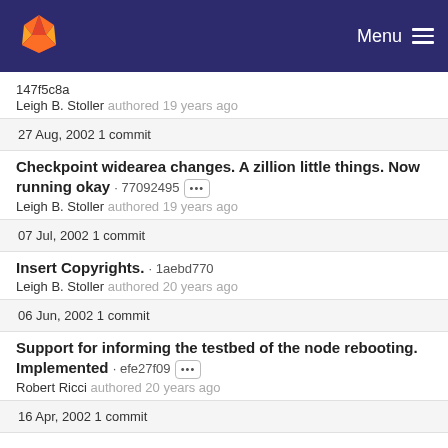GitLab — Menu
147f5c8a
Leigh B. Stoller authored 19 years ago
27 Aug, 2002 1 commit
Checkpoint widearea changes. A zillion little things. Now running okay · 77092495 [···]
Leigh B. Stoller authored 19 years ago
07 Jul, 2002 1 commit
Insert Copyrights. · 1aebd770
Leigh B. Stoller authored 20 years ago
06 Jun, 2002 1 commit
Support for informing the testbed of the node rebooting. Implemented · efe27f09 [···]
Robert Ricci authored 20 years ago
16 Apr, 2002 1 commit